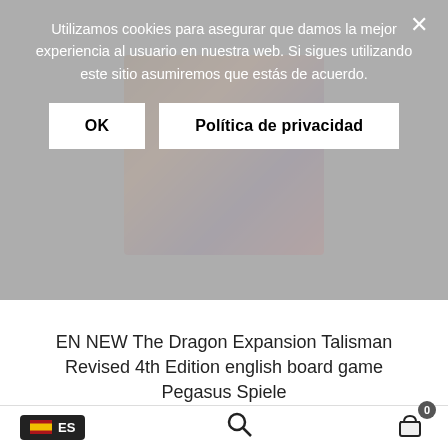Utilizamos cookies para asegurar que damos la mejor experiencia al usuario en nuestra web. Si sigues utilizando este sitio asumiremos que estás de acuerdo.
OK
Política de privacidad
EN NEW The Dragon Expansion Talisman Revised 4th Edition english board game Pegasus Spiele
34,95€ Impuestos incluidos.
Añadir al carrito
ES